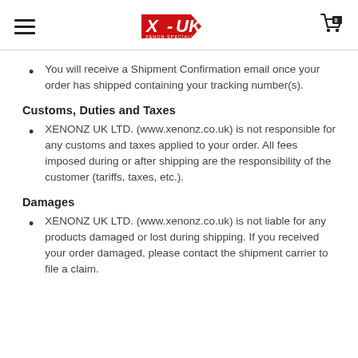X-UK [logo] [hamburger menu] [cart with 0]
You will receive a Shipment Confirmation email once your order has shipped containing your tracking number(s).
Customs, Duties and Taxes
XENONZ UK LTD. (www.xenonz.co.uk) is not responsible for any customs and taxes applied to your order. All fees imposed during or after shipping are the responsibility of the customer (tariffs, taxes, etc.).
Damages
XENONZ UK LTD. (www.xenonz.co.uk) is not liable for any products damaged or lost during shipping. If you received your order damaged, please contact the shipment carrier to file a claim.